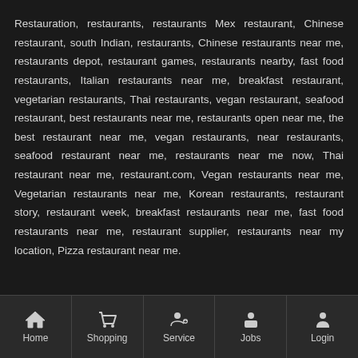Restauration, restaurants, restaurants Mex restaurant, Chinese restaurant, south Indian, restaurants, Chinese restaurants near me, restaurants depot, restaurant games, restaurants nearby, fast food restaurants, Italian restaurants near me, breakfast restaurant, vegetarian restaurants, Thai restaurants, vegan restaurant, seafood restaurant, best restaurants near me, restaurants open near me, the best restaurant near me, vegan restaurants, near restaurants, seafood restaurant near me, restaurants near me now, Thai restaurant near me, restaurant.com, Vegan restaurants near me, Vegetarian restaurants near me, Korean restaurants, restaurant story, restaurant week, breakfast restaurants near me, fast food restaurants near me, restaurant supplier, restaurants near my location, Pizza restaurant near me.
Home | Shopping | Service | Jobs | Login